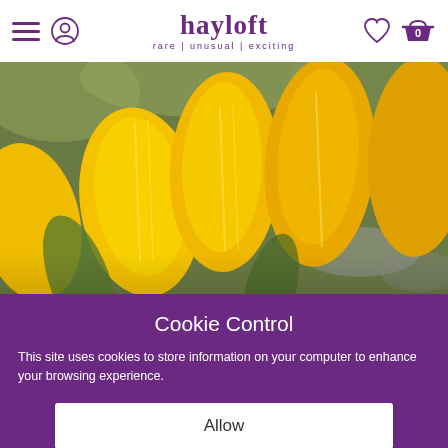hayloft — rare | unusual | exciting
[Figure (photo): Close-up photograph of bright yellow tulip or crocus flowers with green foliage in the background]
Cookie Control
This site uses cookies to store information on your computer to enhance your browsing experience.
Allow